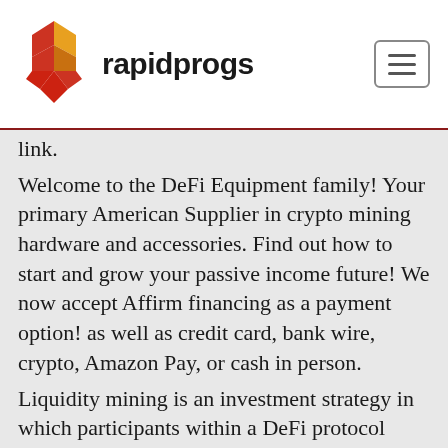rapidprogs
link.
Welcome to the DeFi Equipment family! Your primary American Supplier in crypto mining hardware and accessories. Find out how to start and grow your passive income future! We now accept Affirm financing as a payment option! as well as credit card, bank wire, crypto, Amazon Pay, or cash in person.
Liquidity mining is an investment strategy in which participants within a DeFi protocol contribute their crypto assets to make it easy for others to trade within a platform. In exchange for their